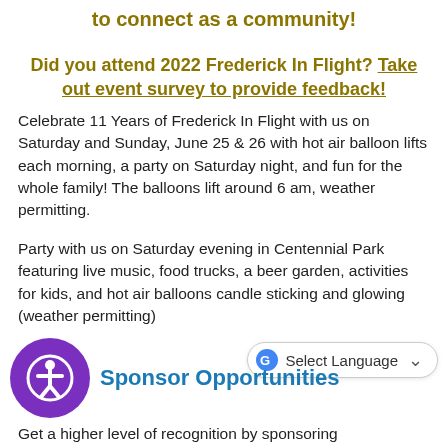to connect as a community!
Did you attend 2022 Frederick In Flight? Take out event survey to provide feedback!
Celebrate 11 Years of Frederick In Flight with us on Saturday and Sunday,  June 25 & 26 with hot air balloon lifts each morning, a party on Saturday night, and fun for the whole family! The balloons lift around 6 am, weather permitting.
Party with us on Saturday evening in Centennial Park featuring live music, food trucks, a beer garden, activities for kids, and hot air balloons candle sticking and glowing (weather permitting)
Sponsor Opportunities
Get a higher level of recognition by sponsoring